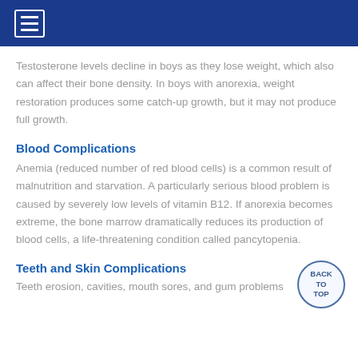Testosterone levels decline in boys as they lose weight, which also can affect their bone density. In boys with anorexia, weight restoration produces some catch-up growth, but it may not produce full growth.
Blood Complications
Anemia (reduced number of red blood cells) is a common result of malnutrition and starvation. A particularly serious blood problem is caused by severely low levels of vitamin B12. If anorexia becomes extreme, the bone marrow dramatically reduces its production of blood cells, a life-threatening condition called pancytopenia.
Teeth and Skin Complications
Teeth erosion, cavities, mouth sores, and gum problems